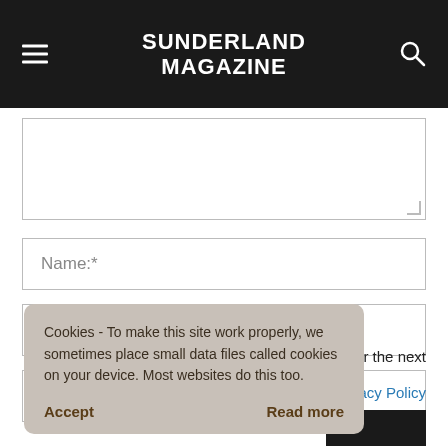SUNDERLAND MAGAZINE
[Figure (screenshot): Comment form with textarea, Name, Email, Website fields]
vser for the next
rivacy Policy
Cookies - To make this site work properly, we sometimes place small data files called cookies on your device. Most websites do this too.
Accept
Read more